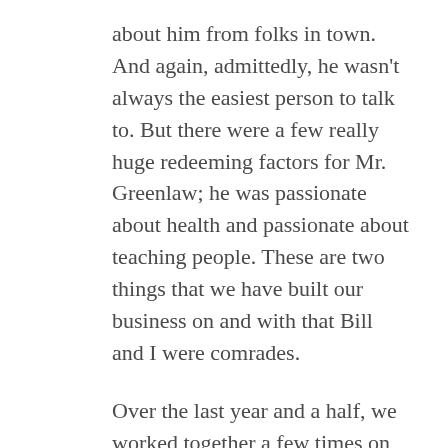about him from folks in town. And again, admittedly, he wasn't always the easiest person to talk to. But there were a few really huge redeeming factors for Mr. Greenlaw; he was passionate about health and passionate about teaching people. These are two things that we have built our business on and with that Bill and I were comrades.
Over the last year and a half, we worked together a few times on supplying our markets, splitting items that we couldn't possibly completely use. He came over many times to bring us organic vegetables that he had grown on his land and of course, lots of advice on how to more effectively build our business. The funny thing is though, that while we were technically competing business, Bill was never adversarial. He sent folks my way for items and of course, I sent folks to his end when they needed certain items I knew he carried. While